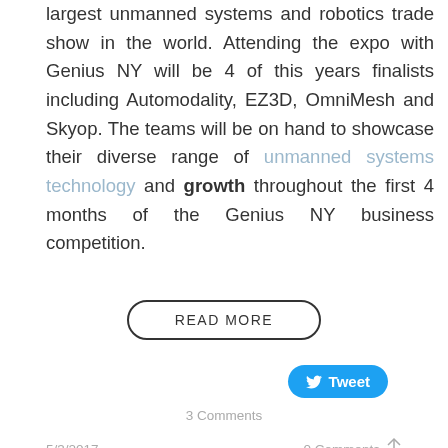largest unmanned systems and robotics trade show in the world. Attending the expo with Genius NY will be 4 of this years finalists including Automodality, EZ3D, OmniMesh and Skyop. The teams will be on hand to showcase their diverse range of unmanned systems technology and growth throughout the first 4 months of the Genius NY business competition.
READ MORE
[Figure (other): Tweet button (Twitter/X social share button)]
3 Comments
5/3/2017
0 Comments
Genius NY Finalist.